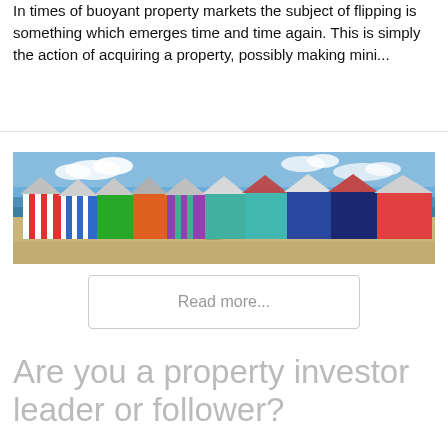In times of buoyant property markets the subject of flipping is something which emerges time and time again. This is simply the action of acquiring a property, possibly making mini...
[Figure (photo): A row of colorful painted beach huts on a sandy beach with the ocean and blue sky in the background.]
Read more...
Are you a property investor leader or follower?